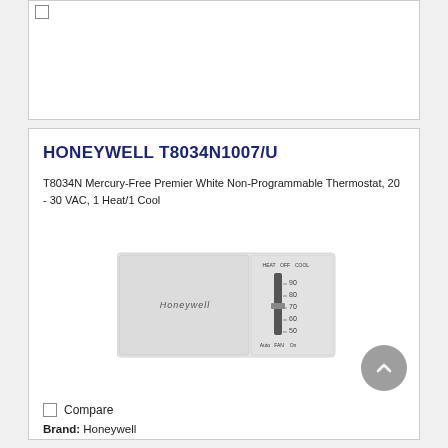[Figure (screenshot): Top portion of a product card with a checkbox in upper left corner, partially visible white card area]
HONEYWELL T8034N1007/U
T8034N Mercury-Free Premier White Non-Programmable Thermostat, 20 - 30 VAC, 1 Heat/1 Cool
[Figure (photo): Honeywell T8034N thermostat - white rectangular thermostat with Honeywell branding on left panel and temperature scale showing 50, 60, 70, 80, 90 with HEAT/OFF/COOL switch at top and AUTO/FAN/ON switch at bottom]
Compare
Brand: Honeywell